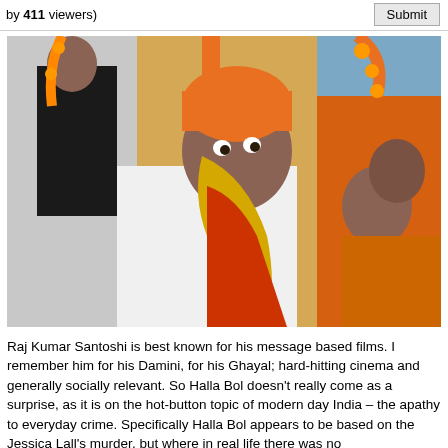by 411 viewers)  [Submit]
[Figure (photo): A man dressed in traditional Indian orange and white wedding/ceremonial attire (orange turban, yellow/golden scarf/dupatta, white kurta) with an expressive face, leaning forward. A young child in black clothing is visible in the background on the left, and a woman in orange sari is partially visible on the right.]
Raj Kumar Santoshi is best known for his message based films. I remember him for his Damini, for his Ghayal; hard-hitting cinema and generally socially relevant. So Halla Bol doesn't really come as a surprise, as it is on the hot-button topic of modern day India – the apathy to everyday crime. Specifically Halla Bol appears to be based on the Jessica Lall's murder, but where in real life there was no